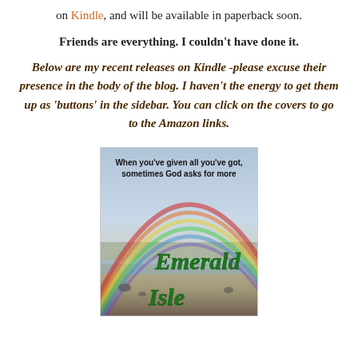on Kindle, and will be available in paperback soon.
Friends are everything. I couldn't have done it.
Below are my recent releases on Kindle -please excuse their presence in the body of the blog. I haven't the energy to get them up as 'buttons' in the sidebar. You can click on the covers to go to the Amazon links.
[Figure (illustration): Book cover for 'Emerald Isle' showing a rainbow over a coastal landscape with the tagline 'When you've given all you've got, sometimes God asks for more'. Title text 'Emerald Isle' in green italic font overlaid on the image.]